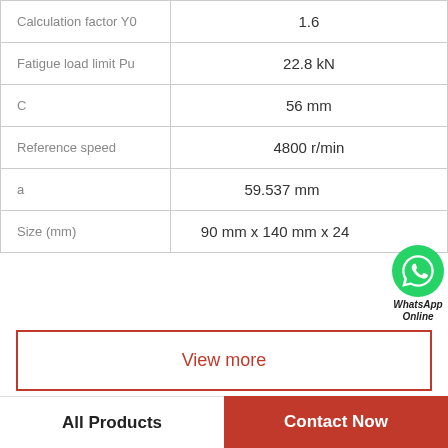| Parameter | Value |
| --- | --- |
| Calculation factor Y0 | 1.6 |
| Fatigue load limit Pu | 22.8 kN |
| C | 56 mm |
| Reference speed | 4800 r/min |
| a | 59.537 mm |
| Size (mm) | 90 mm x 140 mm x 24 |
View more
Company Profile
All Products
Contact Now